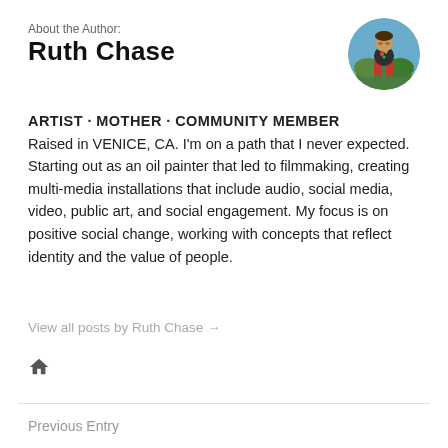About the Author:
Ruth Chase
[Figure (photo): Circular profile photo of Ruth Chase, a woman wearing a floral top and red pants, sitting outdoors.]
ARTIST · MOTHER · COMMUNITY MEMBER
Raised in VENICE, CA. I'm on a path that I never expected. Starting out as an oil painter that led to filmmaking, creating multi-media installations that include audio, social media, video, public art, and social engagement. My focus is on positive social change, working with concepts that reflect identity and the value of people.
View all posts by Ruth Chase →
🏠
Previous Entry